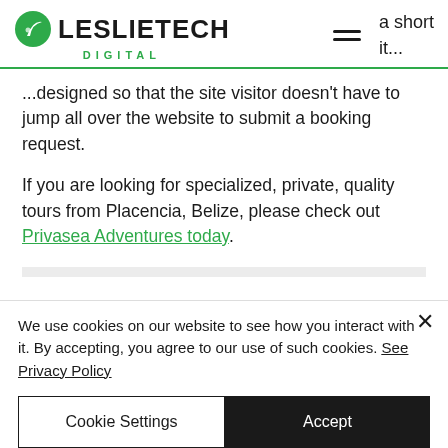[Figure (logo): LeslieTech Digital logo with green leaf icon and company name]
a short it...
...designed so that the site visitor doesn't have to jump all over the website to submit a booking request.
If you are looking for specialized, private, quality tours from Placencia, Belize, please check out Privasea Adventures today.
We use cookies on our website to see how you interact with it. By accepting, you agree to our use of such cookies. See Privacy Policy